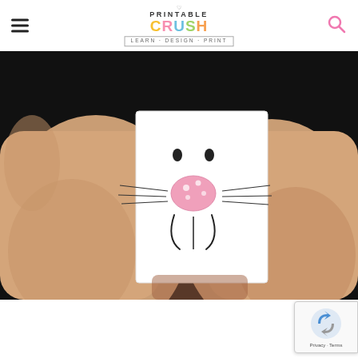Printable Crush — Learn · Design · Print
[Figure (photo): Two hands holding up a white paper box with a cute bunny face printed on it (black eyes, pink polka-dot nose, whiskers, and buck teeth drawn in black line art), against a dark/black background.]
[Figure (other): Google reCAPTCHA badge widget in the bottom-right corner, showing the reCAPTCHA logo and 'Privacy · Terms' text.]